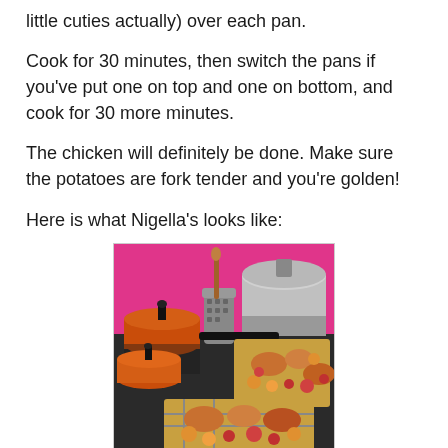little cuties actually) over each pan.
Cook for 30 minutes, then switch the pans if you've put one on top and one on bottom, and cook for 30 more minutes.
The chicken will definitely be done. Make sure the potatoes are fork tender and you're golden!
Here is what Nigella's looks like:
[Figure (photo): Photo of a kitchen scene with two roasting pans containing chicken, potatoes and cranberries, with orange Le Creuset pots and cooking utensils in the background against a pink wall.]